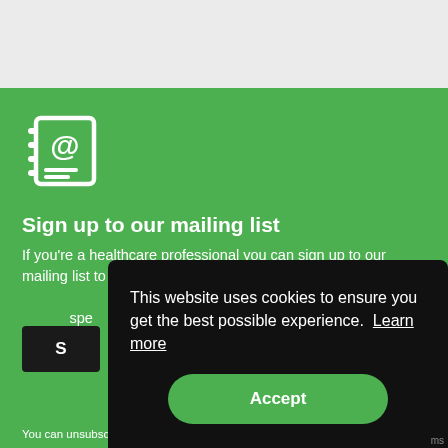[Figure (illustration): White icon of an address book or contact list with an '@' symbol on a green background]
Sign up to our mailing list
If you're a healthcare professional you can sign up to our mailing list to receive high quality medical, pharmaceutical and healthcare information specific to your specialty.
S
You can unsubscribe at any time using the 'Unsubscribe' link at the bottom
This website uses cookies to ensure you get the best possible experience.  Learn more
Accept